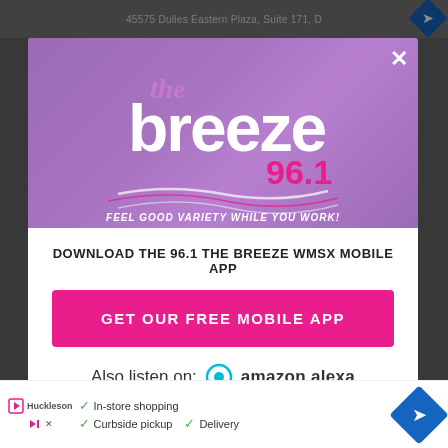[Figure (screenshot): Background webpage showing address bar with '45575 Dulles Eastern Plaza, Suite 171, D' and navigation arrows]
[Figure (logo): The Breeze 96.1 radio station logo on purple background with tagline 'FEEL GOOD VARIETY WHILE YOU WORK!' and close button X]
DOWNLOAD THE 96.1 THE BREEZE WMSX MOBILE APP
GET OUR FREE MOBILE APP
Also listen on:  amazon alexa
[Figure (screenshot): Bottom advertisement banner showing logo, checkmark items: In-store shopping, Curbside pickup, Delivery, and blue diamond navigation icon]